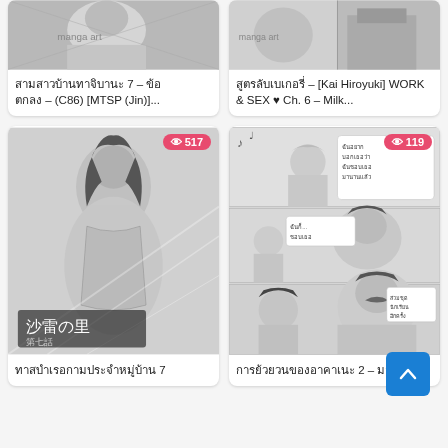[Figure (illustration): Top-left manga/comic thumbnail (partially visible), grayscale manga art]
สามสาวบ้านทาจิบานะ 7 – ข้อตกลง – (C86) [MTSP (Jin)]...
[Figure (illustration): Top-right manga/comic thumbnail (partially visible), grayscale manga art]
สูตรลับเบเกอรี่ – [Kai Hiroyuki] WORK & SEX ♥ Ch. 6 – Milk...
[Figure (illustration): Bottom-left manga cover showing female character, Japanese title 沙雷の里 第七話, grayscale, view count 517]
ทาสบำเรอกามประจำหมู่บ้าน 7
[Figure (illustration): Bottom-right manga pages showing multiple female characters in various scenes, grayscale, view count 119]
การย้วยวนของอาคาเนะ 2 – มา